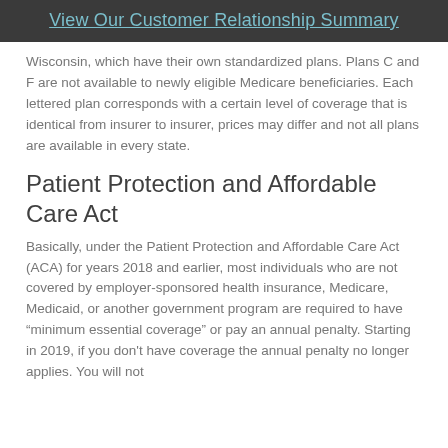View Our Customer Relationship Summary
Wisconsin, which have their own standardized plans. Plans C and F are not available to newly eligible Medicare beneficiaries. Each lettered plan corresponds with a certain level of coverage that is identical from insurer to insurer, prices may differ and not all plans are available in every state.
Patient Protection and Affordable Care Act
Basically, under the Patient Protection and Affordable Care Act (ACA) for years 2018 and earlier, most individuals who are not covered by employer-sponsored health insurance, Medicare, Medicaid, or another government program are required to have “minimum essential coverage” or pay an annual penalty. Starting in 2019, if you don’t have coverage the annual penalty no longer applies. You will not